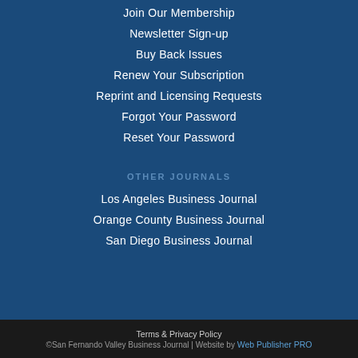Join Our Membership
Newsletter Sign-up
Buy Back Issues
Renew Your Subscription
Reprint and Licensing Requests
Forgot Your Password
Reset Your Password
OTHER JOURNALS
Los Angeles Business Journal
Orange County Business Journal
San Diego Business Journal
Terms & Privacy Policy
©San Fernando Valley Business Journal | Website by Web Publisher PRO